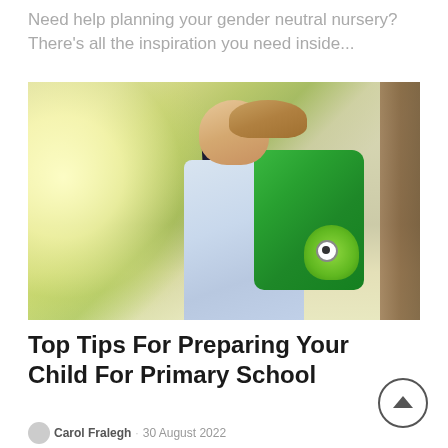Need help planning your gender neutral nursery? There's all the inspiration you need inside...
[Figure (photo): Young boy seen from behind wearing a white shirt and a green monster backpack, standing in a doorway with bright natural light]
Top Tips For Preparing Your Child For Primary School
Carol Fralegh   30 August 2022